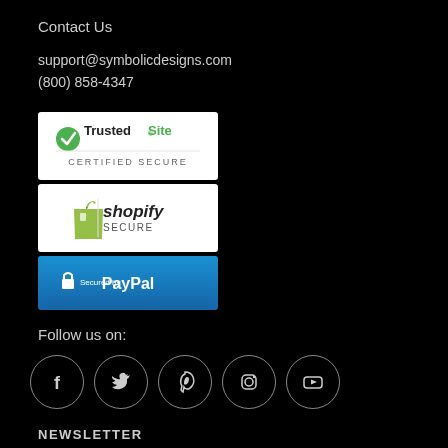Contact Us
support@symbolicdesigns.com
(800) 858-4347
[Figure (logo): TrustedSite Certified Secure badge]
[Figure (logo): Shopify Secure badge]
[Figure (logo): Secured by PayPal badge]
Follow us on:
[Figure (infographic): Social media icons: Facebook, Twitter, Pinterest, Instagram, YouTube]
NEWSLETTER
email@example.com